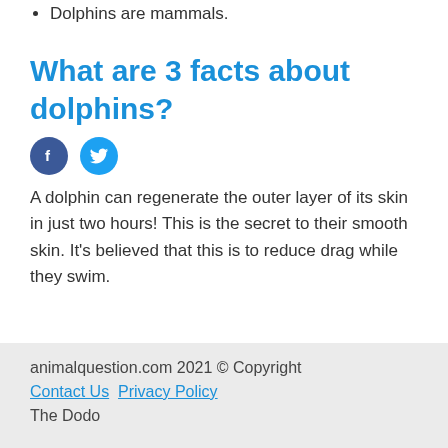Dolphins are mammals.
What are 3 facts about dolphins?
[Figure (illustration): Facebook and Twitter social share icon buttons]
A dolphin can regenerate the outer layer of its skin in just two hours! This is the secret to their smooth skin. It's believed that this is to reduce drag while they swim.
animalquestion.com 2021 © Copyright
Contact Us  Privacy Policy
The Dodo